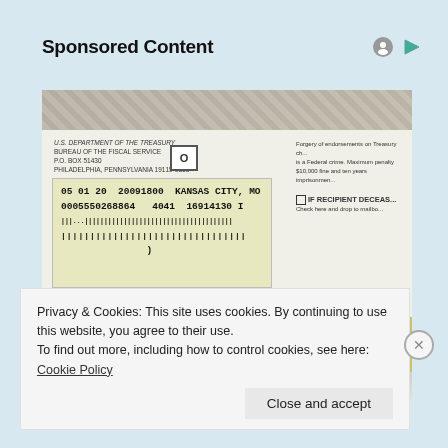Sponsored Content
[Figure (photo): Photograph of a U.S. Treasury / IRS government envelope showing return address from U.S. Department of the Treasury Bureau of the Fiscal Service, P.O. Box 51430, Philadelphia Pennsylvania 19115-6310, with penalty for private use text, a window showing address: 05 01 20 20091800 KANSAS CITY, MO / 0005550268684 / 4041 16914130 I, with barcode, and right side text about forgery of endorsements being a federal crime, IF RECIPIENT DECEASED checkbox and drop to mailbox instruction]
Privacy & Cookies: This site uses cookies. By continuing to use this website, you agree to their use.
To find out more, including how to control cookies, see here: Cookie Policy
Close and accept